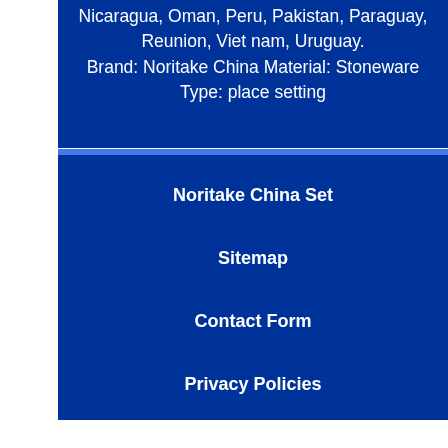Nicaragua, Oman, Peru, Pakistan, Paraguay, Reunion, Viet nam, Uruguay.
Brand: Noritake China Material: Stoneware
Type: place setting
Noritake China Set
Sitemap
Contact Form
Privacy Policies
Service Agreement